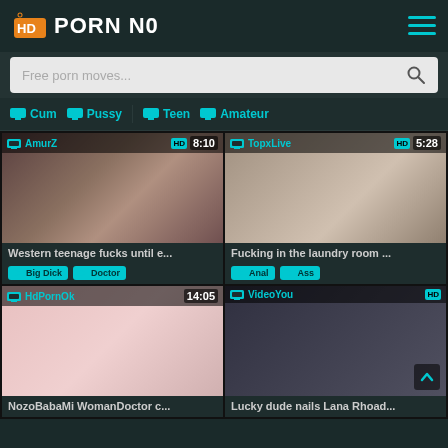HD PORN NO
Free porn moves...
Cum  Pussy  Teen  Amateur
[Figure (screenshot): Video thumbnail for 'Western teenage fucks until e...' by AmurZ, duration 8:10, HD badge, tags: Big Dick, Doctor]
[Figure (screenshot): Video thumbnail for 'Fucking in the laundry room ...' by TopxLive, duration 5:28, HD badge, tags: Anal, Ass]
[Figure (screenshot): Video thumbnail for 'NozoBabaMi WomanDoctor c...' by HdPornOk, duration 14:05, tags shown]
[Figure (screenshot): Video thumbnail for 'Lucky dude nails Lana Rhoad...' by VideoYou, HD badge]